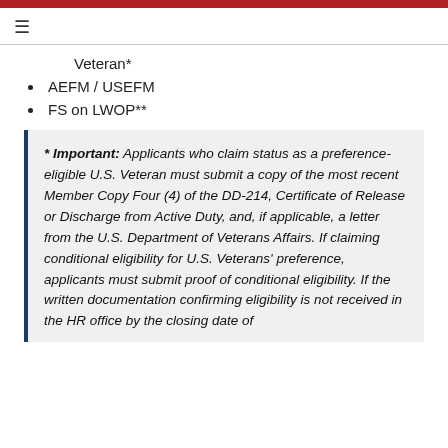≡
Veteran*
AEFM / USEFM
FS on LWOP**
* Important: Applicants who claim status as a preference-eligible U.S. Veteran must submit a copy of the most recent Member Copy Four (4) of the DD-214, Certificate of Release or Discharge from Active Duty, and, if applicable, a letter from the U.S. Department of Veterans Affairs. If claiming conditional eligibility for U.S. Veterans' preference, applicants must submit proof of conditional eligibility. If the written documentation confirming eligibility is not received in the HR office by the closing date of